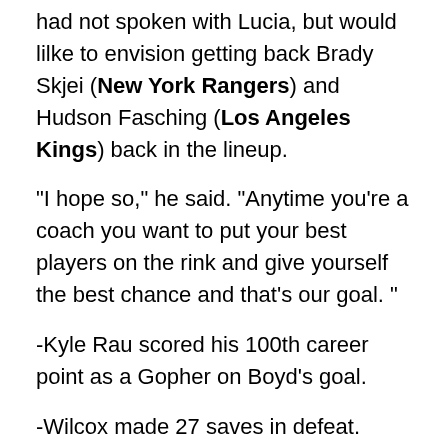had not spoken with Lucia, but would lilke to envision getting back Brady Skjei (New York Rangers) and Hudson Fasching (Los Angeles Kings) back in the lineup.
"I hope so," he said. "Anytime you're a coach you want to put your best players on the rink and give yourself the best chance and that's our goal. "
-Kyle Rau scored his 100th career point as a Gopher on Boyd's goal.
-Wilcox made 27 saves in defeat.
-Vaughan on his team playing in 10,000 seat Mariucci Arena against Minnesota: "If you can't get up for a game at Mariucci, it's probably time to take up chess or something else."